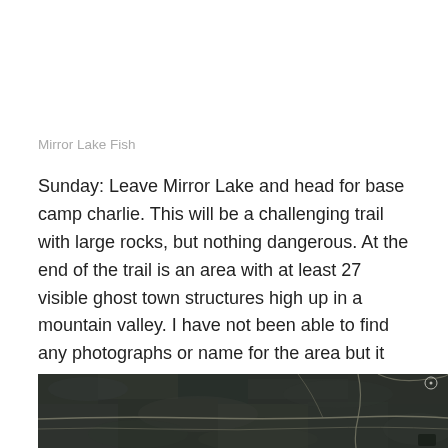Mirror Lake Fish
Sunday: Leave Mirror Lake and head for base camp charlie. This will be a challenging trail with large rocks, but nothing dangerous. At the end of the trail is an area with at least 27 visible ghost town structures high up in a mountain valley. I have not been able to find any photographs or name for the area but it appears to have been a large mine.
[Figure (map): Aerial/satellite map view showing terrain with trails or roads visible as lighter lines against dark forested/rocky landscape. A small circular marker is visible in the upper right area.]